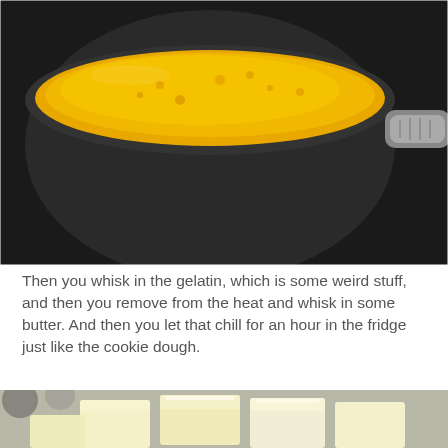[Figure (photo): A dark non-stick saucepan on a stove with a yellow/golden liquid (butter or curd) being melted or cooked, with a metallic handle visible on the right side.]
Then you whisk in the gelatin, which is some weird stuff, and then you remove from the heat and whisk in some butter. And then you let that chill for an hour in the fridge just like the cookie dough.
[Figure (photo): Several cubes of butter stacked on a surface, pale yellow in color with a soft, creamy appearance.]